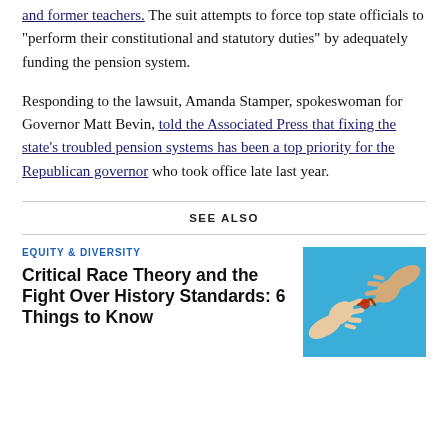and former teachers. The suit attempts to force top state officials to “perform their constitutional and statutory duties” by adequately funding the pension system.
Responding to the lawsuit, Amanda Stamper, spokeswoman for Governor Matt Bevin, told the Associated Press that fixing the state’s troubled pension systems has been a top priority for the Republican governor who took office late last year.
SEE ALSO
EQUITY & DIVERSITY
Critical Race Theory and the Fight Over History Standards: 6 Things to Know
[Figure (photo): Two hands reaching toward each other pulling on opposite ends of a rope against a blue background]